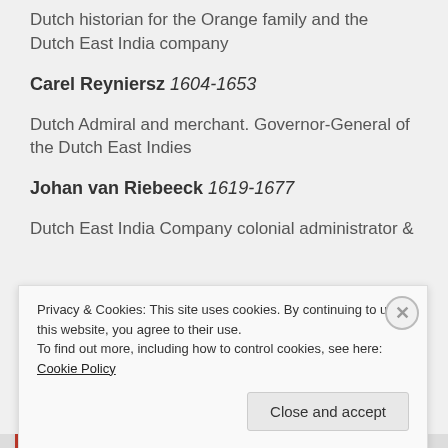Dutch historian for the Orange family and the Dutch East India company
Carel Reyniersz 1604-1653
Dutch Admiral and merchant. Governor-General of the Dutch East Indies
Johan van Riebeeck 1619-1677
Dutch East India Company colonial administrator &
Privacy & Cookies: This site uses cookies. By continuing to use this website, you agree to their use.
To find out more, including how to control cookies, see here: Cookie Policy
Close and accept